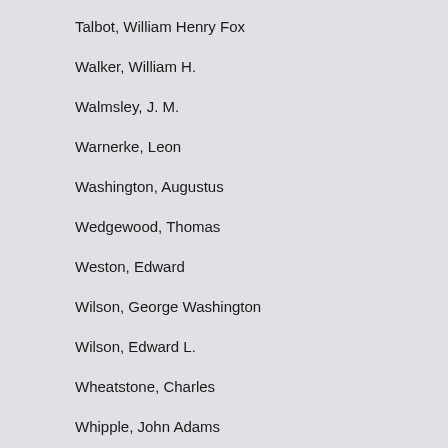Talbot, William Henry Fox
Walker, William H.
Walmsley, J. M.
Warnerke, Leon
Washington, Augustus
Wedgewood, Thomas
Weston, Edward
Wilson, George Washington
Wilson, Edward L.
Wheatstone, Charles
Whipple, John Adams
Wolcott, Alexander S.